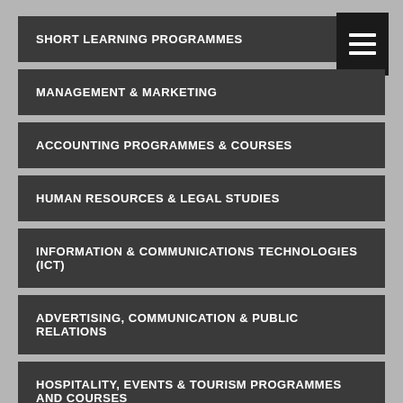SHORT LEARNING PROGRAMMES
MANAGEMENT & MARKETING
ACCOUNTING PROGRAMMES & COURSES
HUMAN RESOURCES & LEGAL STUDIES
INFORMATION & COMMUNICATIONS TECHNOLOGIES (ICT)
ADVERTISING, COMMUNICATION & PUBLIC RELATIONS
HOSPITALITY, EVENTS & TOURISM PROGRAMMES AND COURSES
HUMANITIES